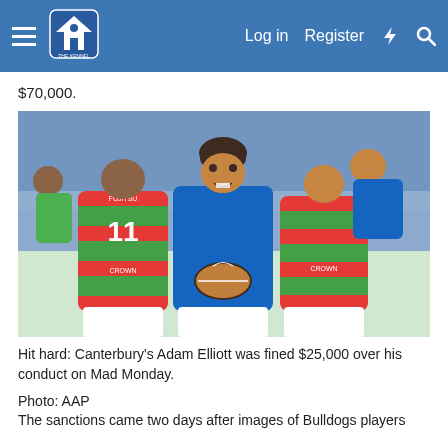The Kennel — Log in  Register
$70,000.
[Figure (photo): Rugby league action photo: Canterbury Bulldogs player in blue jersey being tackled by two South Sydney Rabbitohs players in red and green hooped jerseys. The Bulldogs player (number 11 on one Rabbitohs player's back, FUJITSU and CROWN sponsors visible) is being wrapped up while holding the ball.]
Hit hard: Canterbury's Adam Elliott was fined $25,000 over his conduct on Mad Monday.
Photo: AAP
The sanctions came two days after images of Bulldogs players